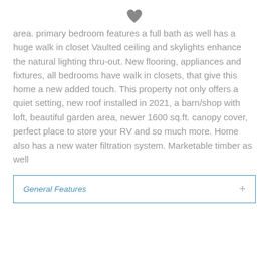[Figure (illustration): Heart icon (favorite/save indicator)]
area. primary bedroom features a full bath as well has a huge walk in closet Vaulted ceiling and skylights enhance the natural lighting thru-out. New flooring, appliances and fixtures, all bedrooms have walk in closets, that give this home a new added touch. This property not only offers a quiet setting, new roof installed in 2021, a barn/shop with loft, beautiful garden area, newer 1600 sq.ft. canopy cover, perfect place to store your RV and so much more. Home also has a new water filtration system. Marketable timber as well
General Features